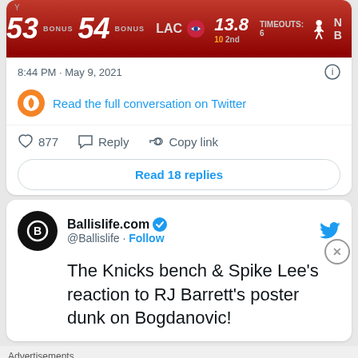[Figure (screenshot): NBA scoreboard showing score 53-54, LAC with logo, 13.8 time, 10 2nd quarter]
8:44 PM · May 9, 2021
Read the full conversation on Twitter
877   Reply   Copy link
Read 18 replies
Ballislife.com @Ballislife · Follow
The Knicks bench & Spike Lee's reaction to RJ Barrett's poster dunk on Bogdanovic!
Advertisements
Launch your online course with WordPress   Learn More